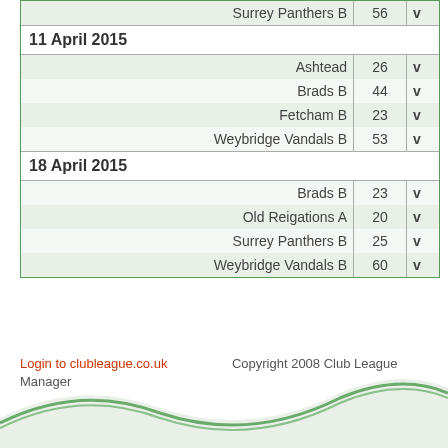| Team | Score | vs |
| --- | --- | --- |
| Surrey Panthers B | 56 | v |
| 11 April 2015 |  |  |
| Ashtead | 26 | v |
| Brads B | 44 | v |
| Fetcham B | 23 | v |
| Weybridge Vandals B | 53 | v |
| 18 April 2015 |  |  |
| Brads B | 23 | v |
| Old Reigations A | 20 | v |
| Surrey Panthers B | 25 | v |
| Weybridge Vandals B | 60 | v |
Login to clubleague.co.uk    Copyright 2008 Club League Manager